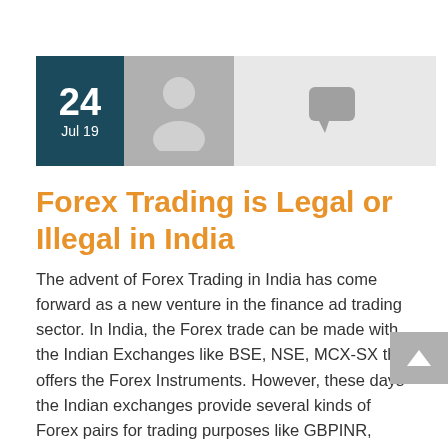[Figure (infographic): Date badge showing '24 Jul 19' in teal box, user avatar in grey box, and speech bubble icon in light grey box]
Forex Trading is Legal or Illegal in India
The advent of Forex Trading in India has come forward as a new venture in the finance ad trading sector. In India, the Forex trade can be made with the Indian Exchanges like BSE, NSE, MCX-SX that offers the Forex Instruments. However, these days the Indian exchanges provide several kinds of Forex pairs for trading purposes like GBPINR, USDINR, EURINR, and JPYINR.